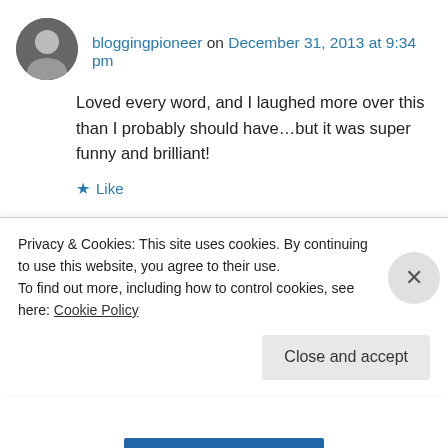bloggingpioneer on December 31, 2013 at 9:34 pm
Loved every word, and I laughed more over this than I probably should have…but it was super funny and brilliant!
★ Like
↳ Reply
alm383 on January 2, 2014 at 8:32 pm
[blurred comment text]
Privacy & Cookies: This site uses cookies. By continuing to use this website, you agree to their use. To find out more, including how to control cookies, see here: Cookie Policy
Close and accept